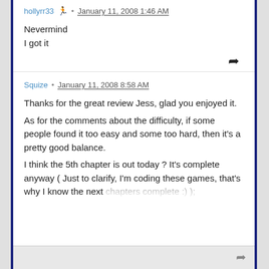hollyrr33 • January 11, 2008 1:46 AM
Nevermind
I got it
Squize • January 11, 2008 8:58 AM
Thanks for the great review Jess, glad you enjoyed it.
As for the comments about the difficulty, if some people found it too easy and some too hard, then it's a pretty good balance.
I think the 5th chapter is out today ? It's complete anyway ( Just to clarify, I'm coding these games, that's why I know the next chapters complete :) );